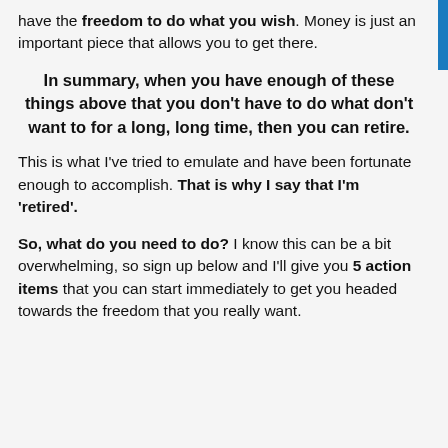have the freedom to do what you wish. Money is just an important piece that allows you to get there.
In summary, when you have enough of these things above that you don't have to do what don't want to for a long, long time, then you can retire.
This is what I've tried to emulate and have been fortunate enough to accomplish. That is why I say that I'm 'retired'.
So, what do you need to do? I know this can be a bit overwhelming, so sign up below and I'll give you 5 action items that you can start immediately to get you headed towards the freedom that you really want.